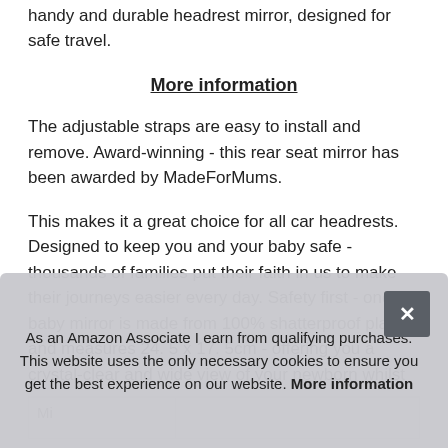handy and durable headrest mirror, designed for safe travel.
More information
The adjustable straps are easy to install and remove. Award-winning - this rear seat mirror has been awarded by MadeForMums.
This makes it a great choice for all car headrests. Designed to keep you and your baby safe - thousands of families put their faith in us to make their journeys easier every day. Safety first - onco's baby mirror is made from 100% shatterproof plastic and measures 24. 5 x 17. 5cm - offering you a crystal-clear and wide view of your newborn whilst driving.
As an Amazon Associate I earn from qualifying purchases. This website uses the only necessary cookies to ensure you get the best experience on our website. More information